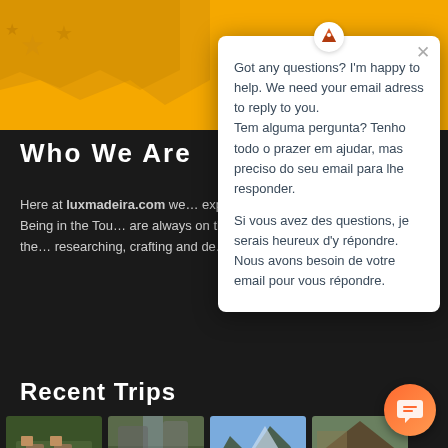[Figure (screenshot): Website screenshot showing yellow banner header with Madeira travel company logo/text, black background with 'Who We Are' section text, 'Recent Trips' heading, and trip thumbnail images at the bottom]
[Figure (screenshot): Chat popup modal overlay with close button (×), trilingual support message in English, Portuguese, and French asking for email address to reply, with orange chat bubble button in corner]